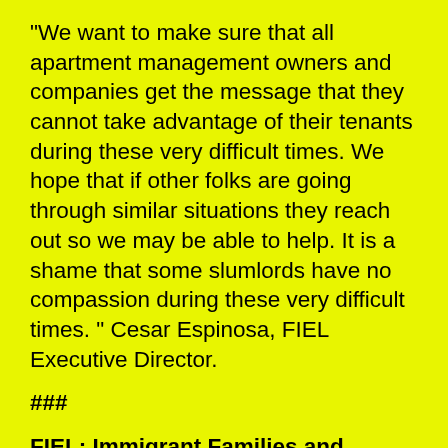"We want to make sure that all apartment management owners and companies get the message that they cannot take advantage of their tenants during these very difficult times. We hope that if other folks are going through similar situations they reach out so we may be able to help. It is a shame that some slumlords have no compassion during these very difficult times. " Cesar Espinosa, FIEL Executive Director.
###
FIEL: Immigrant Families and Students in the Struggle is an organization that advocates for just laws for immigrant families,
access to higher education for all people